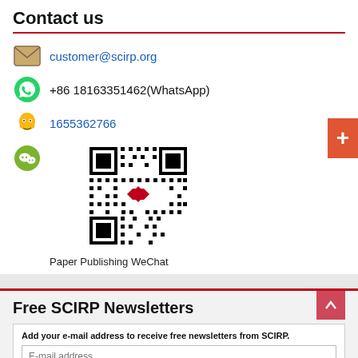Contact us
customer@scirp.org
+86 18163351462(WhatsApp)
1655362766
[Figure (other): QR code for Paper Publishing WeChat]
Paper Publishing WeChat
Free SCIRP Newsletters
Add your e-mail address to receive free newsletters from SCIRP.
E-mail address
Select Journal